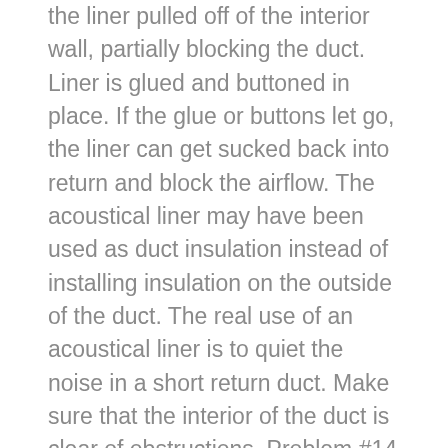the liner pulled off of the interior wall, partially blocking the duct. Liner is glued and buttoned in place. If the glue or buttons let go, the liner can get sucked back into return and block the airflow. The acoustical liner may have been used as duct insulation instead of installing insulation on the outside of the duct. The real use of an acoustical liner is to quiet the noise in a short return duct. Make sure that the interior of the duct is clear of obstructions. Problem #14 Leaky Joints In Duct Work Check to make sure that all joints are sealed up well. We don't